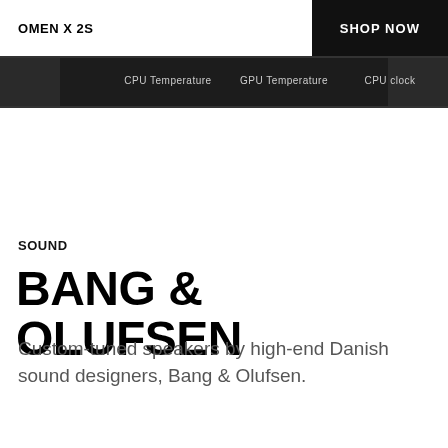OMEN X 2S
SHOP NOW
[Figure (screenshot): Dark screenshot strip showing CPU temperature, GPU temperature, CPU clock labels in a monitoring dashboard]
SOUND
BANG & OLUFSEN
Custom-tuned speakers by high-end Danish sound designers, Bang & Olufsen.